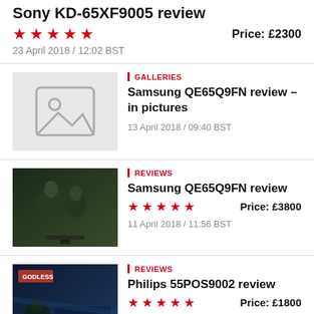Sony KD-65XF9005 review
★★★★★  Price: £2300
23 April 2018 / 12:02 BST
[Figure (photo): Placeholder image thumbnail for Samsung QE65Q9FN gallery]
GALLERIES
Samsung QE65Q9FN review – in pictures
13 April 2018 / 09:40 BST
[Figure (photo): Samsung TV shown on screen with two people, dark green tones]
REVIEWS
Samsung QE65Q9FN review
★★★★★  Price: £3800
11 April 2018 / 11:56 BST
[Figure (photo): Philips TV screen showing Godless series, dark blue tones]
REVIEWS
Philips 55POS9002 review
★★★★★  Price: £1800